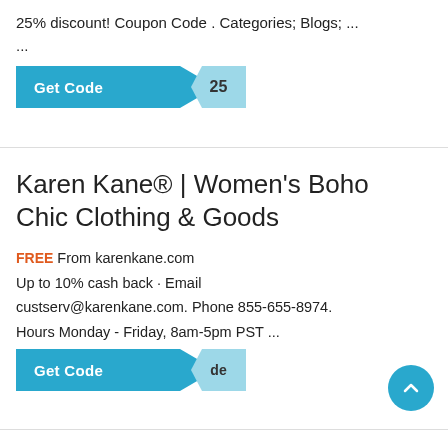25% discount! Coupon Code . Categories; Blogs; ...
...
[Figure (other): Get Code button with coupon tag showing '25']
Karen Kane® | Women's Boho Chic Clothing & Goods
FREE From karenkane.com
Up to 10% cash back · Email custserv@karenkane.com. Phone 855-655-8974. Hours Monday - Friday, 8am-5pm PST ...
[Figure (other): Get Code button with coupon tag showing 'de']